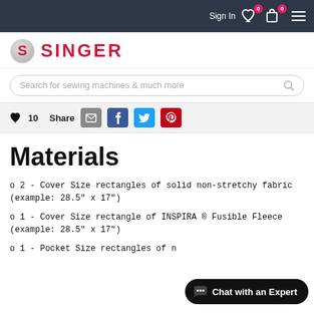Sign In  0  0
[Figure (logo): SINGER brand logo with red circle S icon and red SINGER text]
Search for sewing machines & much more
♥ 10  Share
Materials
o 2 – Cover Size rectangles of solid non-stretchy fabric (example: 28.5" x 17")
o 1 – Cover Size rectangle of INSPIRA ® Fusible Fleece (example: 28.5" x 17")
o 1 – Pocket Size rectangles of n...
Chat with an Expert